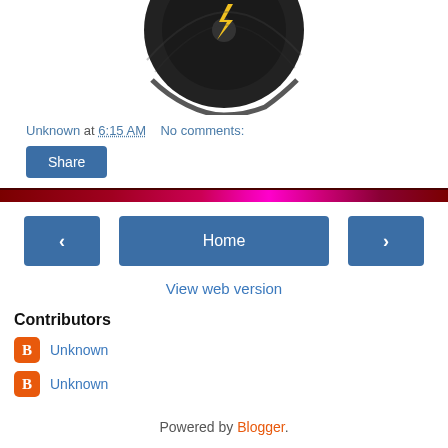[Figure (illustration): Partially visible vinyl record / dark circular image with a yellow lightning bolt symbol, cropped at top]
Unknown at 6:15 AM    No comments:
Share
[Figure (infographic): Decorative divider bar with dark red to magenta/pink gradient]
‹   Home   ›
View web version
Contributors
Unknown
Unknown
Powered by Blogger.